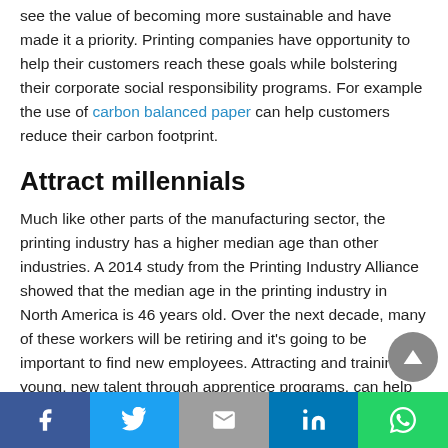see the value of becoming more sustainable and have made it a priority. Printing companies have opportunity to help their customers reach these goals while bolstering their corporate social responsibility programs. For example the use of carbon balanced paper can help customers reduce their carbon footprint.
Attract millennials
Much like other parts of the manufacturing sector, the printing industry has a higher median age than other industries. A 2014 study from the Printing Industry Alliance showed that the median age in the printing industry in North America is 46 years old. Over the next decade, many of these workers will be retiring and it's going to be important to find new employees. Attracting and training young, new talent through apprentice programs, can help you have continued growth in
Share buttons: Facebook, Twitter, Gmail, LinkedIn, WhatsApp